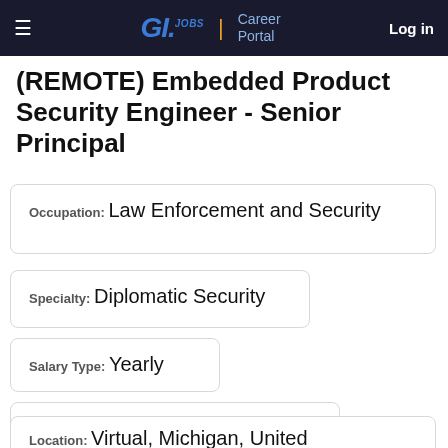G.I. Jobs | Career Portal  Log in
(REMOTE) Embedded Product Security Engineer - Senior Principal
Occupation: Law Enforcement and Security
Specialty: Diplomatic Security
Salary Type: Yearly
Visa sponsorship provided: No
Location: Virtual, Michigan, United